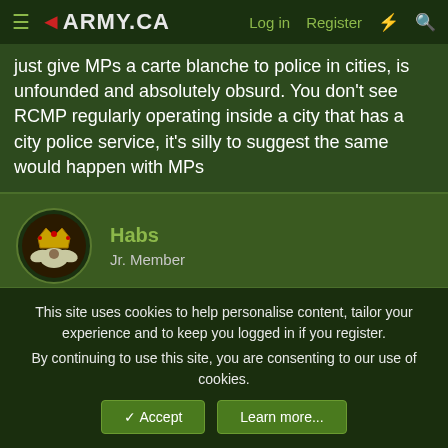ARMY.CA | Log in | Register
just give MPs a carte blanche to police in cities, is unfounded and absolutely obsurd. You don't see RCMP regularly operating inside a city that has a city police service, it's silly to suggest the same would happen with MPs
Habs
Jr. Member
27 Jul 2017 #8
trooper142 said:
What province do you work in?
Not sharing my location on a public internet site, but I think you
This site uses cookies to help personalise content, tailor your experience and to keep you logged in if you register.
By continuing to use this site, you are consenting to our use of cookies.